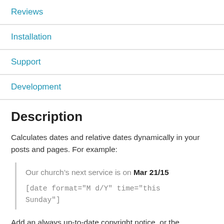Reviews
Installation
Support
Development
Description
Calculates dates and relative dates dynamically in your posts and pages. For example:
Our church's next service is on Mar 21/15

[date format="M d/Y" time="this Sunday"]
Add an always up-to-date copyright notice, or the